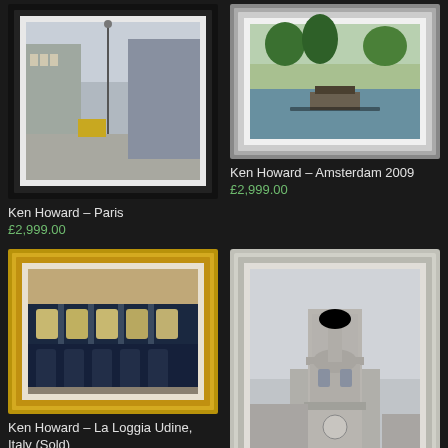[Figure (photo): Framed oil painting by Ken Howard showing a Paris street scene with buildings and vehicles, in a dark/black frame]
Ken Howard – Paris
£2,999.00
[Figure (photo): Framed oil painting by Ken Howard showing Amsterdam canal scene with boats and trees, in a silver/grey frame]
Ken Howard – Amsterdam 2009
£2,999.00
[Figure (photo): Framed oil painting by Ken Howard showing La Loggia Udine, Italy, with arched building facade, in a gold frame]
Ken Howard – La Loggia Udine, Italy (Sold)
[Figure (photo): Framed oil painting showing a church tower/steeple against a grey sky, in an ornate silver frame, partially cut off at bottom]